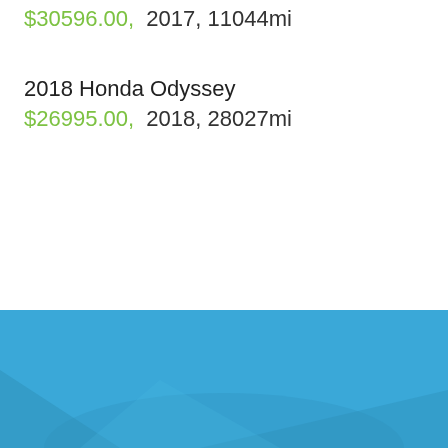$30596.00,  2017, 11044mi
2018 Honda Odyssey
$26995.00,  2018, 28027mi
[Figure (photo): Blue background with a faint car silhouette (interior/exterior view) in a darker blue tone at the bottom of the page]